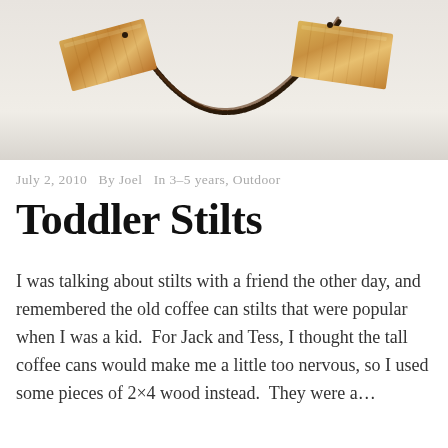[Figure (photo): Two wooden rectangular blocks (stilts footrests) connected by a dark braided rope/cord, photographed from above on a light background.]
July 2, 2010   By Joel   In 3–5 years, Outdoor
Toddler Stilts
I was talking about stilts with a friend the other day, and remembered the old coffee can stilts that were popular when I was a kid.  For Jack and Tess, I thought the tall coffee cans would make me a little too nervous, so I used some pieces of 2×4 wood instead.  They were a…